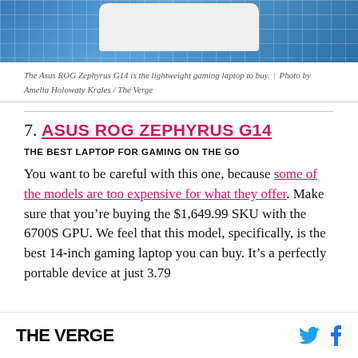[Figure (photo): Top portion of a blue grid cutting mat background with a white rounded rectangle device (laptop) visible at the top edge]
The Asus ROG Zephyrus G14 is the lightweight gaming laptop to buy. | Photo by Amelia Holowaty Krales / The Verge
7. ASUS ROG ZEPHYRUS G14
THE BEST LAPTOP FOR GAMING ON THE GO
You want to be careful with this one, because some of the models are too expensive for what they offer. Make sure that you’re buying the $1,649.99 SKU with the 6700S GPU. We feel that this model, specifically, is the best 14-inch gaming laptop you can buy. It’s a perfectly portable device at just 3.79
THE VERGE